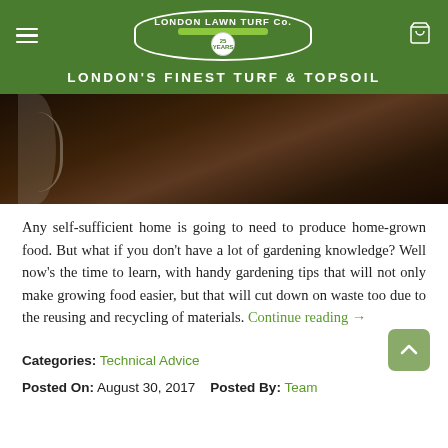LONDON LAWN TURF Co. — LONDON'S FINEST TURF & TOPSOIL
[Figure (photo): Close-up photo of dark topsoil/earth with a partial view of a white container edge on the left]
Any self-sufficient home is going to need to produce home-grown food. But what if you don't have a lot of gardening knowledge? Well now's the time to learn, with handy gardening tips that will not only make growing food easier, but that will cut down on waste too due to the reusing and recycling of materials. Continue reading →
Categories: Technical Advice
Posted On: August 30, 2017    Posted By: Team